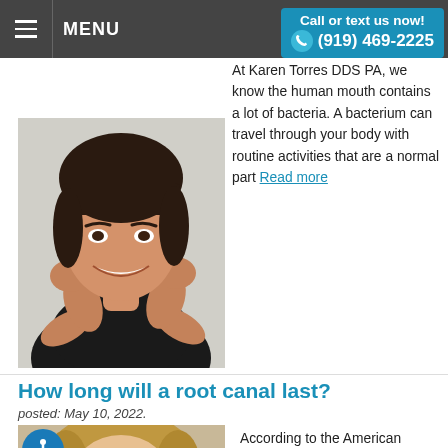MENU
Call or text us now! (919) 469-2225
At Karen Torres DDS PA, we know the human mouth contains a lot of bacteria. A bacterium can travel through your body with routine activities that are a normal part Read more
[Figure (photo): Woman with dark hair smiling with hands framing her face]
How long will a root canal last?
posted: May 10, 2022.
[Figure (photo): Blonde woman smiling]
According to the American Association of Endodontists, root canals have a success rate of over 95%…